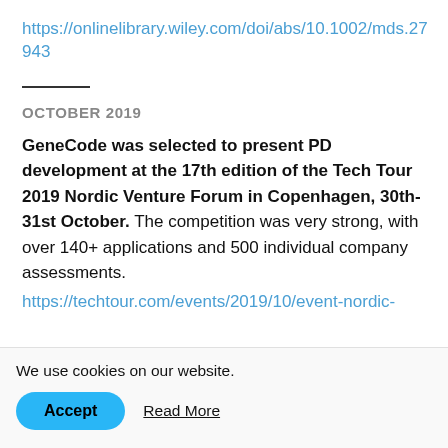https://onlinelibrary.wiley.com/doi/abs/10.1002/mds.27943
OCTOBER 2019
GeneCode was selected to present PD development at the 17th edition of the Tech Tour 2019 Nordic Venture Forum in Copenhagen, 30th-31st October. The competition was very strong, with over 140+ applications and 500 individual company assessments.
https://techtour.com/events/2019/10/event-nordic-
We use cookies on our website.
Accept   Read More